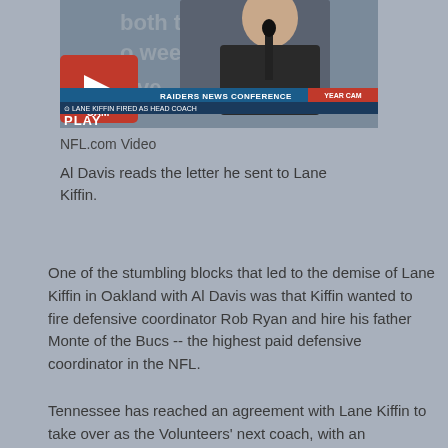[Figure (screenshot): Video thumbnail showing a Raiders News Conference with text 'LANE KIFFIN FIRED AS HEAD COACH' and a play button overlay with CAM badge]
NFL.com Video

Al Davis reads the letter he sent to Lane Kiffin.
One of the stumbling blocks that led to the demise of Lane Kiffin in Oakland with Al Davis was that Kiffin wanted to fire defensive coordinator Rob Ryan and hire his father Monte of the Bucs -- the highest paid defensive coordinator in the NFL.
Tennessee has reached an agreement with Lane Kiffin to take over as the Volunteers' next coach, with an announcement planned for Monday